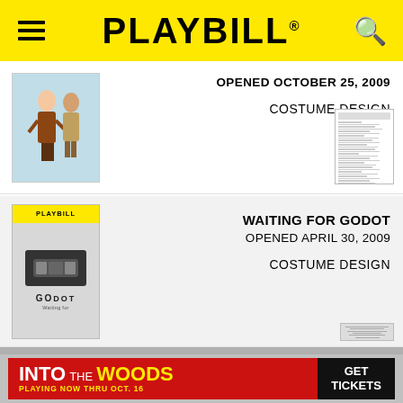PLAYBILL
OPENED OCTOBER 25, 2009
COSTUME DESIGN
[Figure (other): Small document thumbnail image]
WAITING FOR GODOT
OPENED APRIL 30, 2009
COSTUME DESIGN
[Figure (other): Playbill cover for Waiting for Godot]
[Figure (other): INTO THE WOODS advertisement banner - PLAYING NOW THRU OCT. 16 - GET TICKETS]